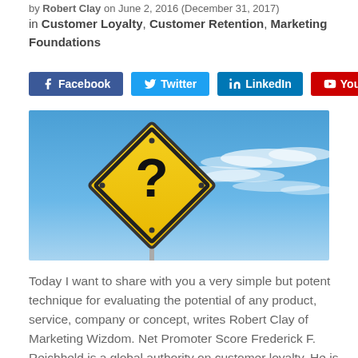by Robert Clay on June 2, 2016 (December 31, 2017)
in Customer Loyalty, Customer Retention, Marketing Foundations
[Figure (other): Social media share buttons: Facebook (blue), Twitter (cyan), LinkedIn (teal), YouTube (red)]
[Figure (photo): A yellow diamond-shaped road sign with a question mark on it, against a bright blue sky with wispy clouds]
Today I want to share with you a very simple but potent technique for evaluating the potential of any product, service, company or concept, writes Robert Clay of Marketing Wizdom. Net Promoter Score Frederick F. Reichheld is a global authority on customer loyalty. He is also